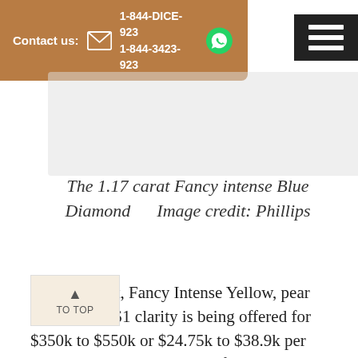Contact us: 1-844-DICE-923  1-844-3423-923
The 1.17 carat Fancy intense Blue Diamond  Image credit: Phillips
A 14.14 carat, Fancy Intense Yellow, pear shape and VS1 clarity is being offered for $350k to $550k or $24.75k to $38.9k per carat. How much will it sell for?